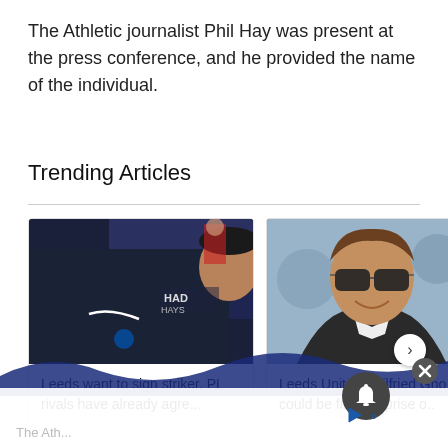The Athletic journalist Phil Hay was present at the press conference, and he provided the name of the individual.
Trending Articles
[Figure (photo): Photo of a footballer wearing Brighton kit sitting in stadium seating]
Leeds want to sign striker, PL rivals have already agre...
[Figure (photo): Photo of a man in sunglasses and leather jacket smiling]
Leeds United: Wilfried Gno could be final surprise o..